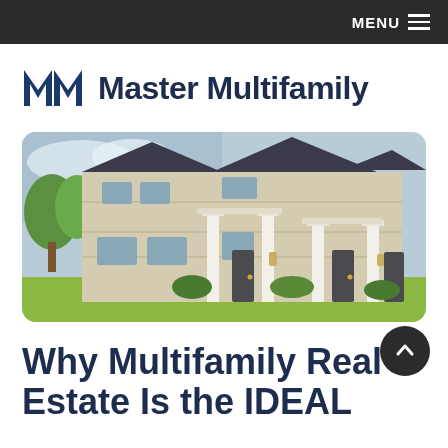MENU
Master Multifamily
[Figure (photo): Exterior photo of a two-story multifamily residential building with light beige siding, white trim columns, dark doors, and green lawn with trees in background]
Why Multifamily Real Estate Is the IDEAL